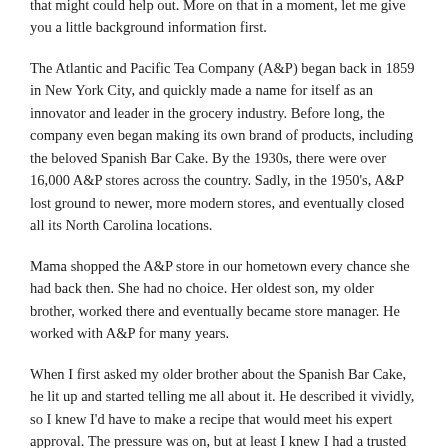that might could help out. More on that in a moment, let me give you a little background information first.
The Atlantic and Pacific Tea Company (A&P) began back in 1859 in New York City, and quickly made a name for itself as an innovator and leader in the grocery industry. Before long, the company even began making its own brand of products, including the beloved Spanish Bar Cake. By the 1930s, there were over 16,000 A&P stores across the country. Sadly, in the 1950's, A&P lost ground to newer, more modern stores, and eventually closed all its North Carolina locations.
Mama shopped the A&P store in our hometown every chance she had back then. She had no choice. Her oldest son, my older brother, worked there and eventually became store manager. He worked with A&P for many years.
When I first asked my older brother about the Spanish Bar Cake, he lit up and started telling me all about it. He described it vividly, so I knew I'd have to make a recipe that would meet his expert approval. The pressure was on, but at least I knew I had a trusted source.
Older brother said this was one of his favorite desserts when he worked for A&P. He spoke fondly of how he'd grab a soft drink and one of the goodies at the store when they'd rest their backs...